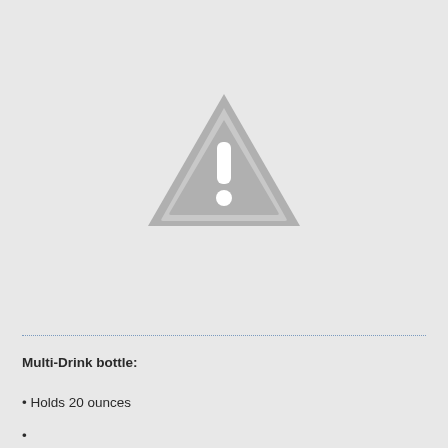[Figure (illustration): A grey warning/caution triangle icon with an exclamation mark inside, displayed on a light grey background.]
Multi-Drink bottle:
• Holds 20 ounces
•